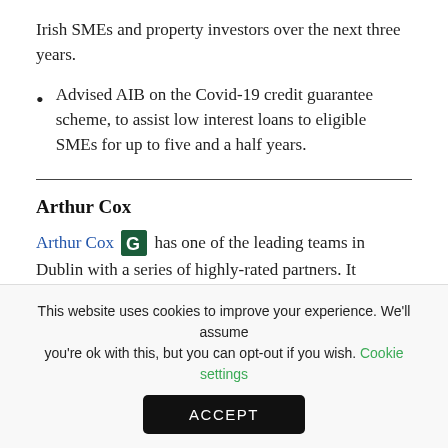Irish SMEs and property investors over the next three years.
Advised AIB on the Covid-19 credit guarantee scheme, to assist low interest loans to eligible SMEs for up to five and a half years.
Arthur Cox
Arthur Cox has one of the leading teams in Dublin with a series of highly-rated partners. It
This website uses cookies to improve your experience. We'll assume you're ok with this, but you can opt-out if you wish. Cookie settings
ACCEPT